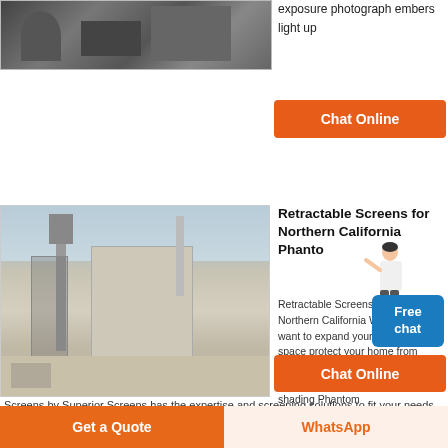[Figure (photo): Industrial machinery photo at top left]
exposure photograph embers light up
Chat Online
[Figure (photo): Industrial plant/factory exterior with tall structures and silos]
Retractable Screens for Northern California Phantom
Retractable Screens for Northern California When you want to expand your living space protect your home from insects or enjoy enhanced natural ventilation or solar shading Phantom Screens by Superior Screens has the expertise and screening solutions to fit your needs We are the region s leading supplier of professionally installed
Free chat
Chat Online
Get a Quote
WhatsApp